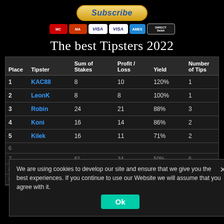[Figure (other): Subscribe button with payment card icons (Mastercard, Maestro, Visa, Visa, Amex, Direct Debit)]
The best Tipsters 2022
| Place | Tipster | Sum of Stakes | Profit / Loss | Yield | Number of Tips |
| --- | --- | --- | --- | --- | --- |
| 1 | KAC88 | 8 | 10 | 120% | 1 |
| 2 | LeonK | 8 | 8 | 100% | 1 |
| 3 | Robin | 24 | 21 | 88% | 3 |
| 4 | Koni | 16 | 14 | 86% | 2 |
| 5 | Kilek | 16 | 11 | 71% | 2 |
| 6 | ... | ... | ... | ... | ... |
| 7 | ... | 61 | 34 | 50% | 6 |
| 8 | Gilbert | 69 | 30 | 43% | 9 |
| 9 | Adams | 31 | 9 | 29% | 4 |
We are using cookies to develop our site and ensure that we give you the best experiences. If you continue to use our Website we will assume that you agree with it.